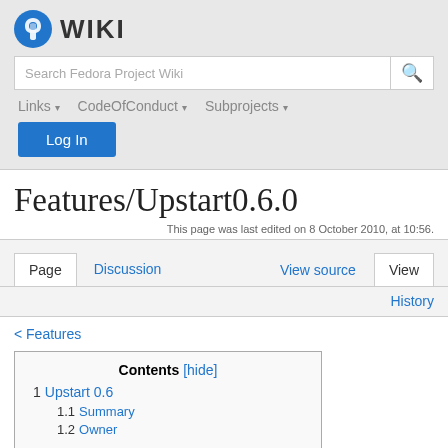[Figure (logo): Fedora project infinity logo circle in blue, with WIKI text in bold]
Search Fedora Project Wiki
Links ▾  CodeOfConduct ▾  Subprojects ▾
Log In
Features/Upstart0.6.0
This page was last edited on 8 October 2010, at 10:56.
Page  Discussion  View source  View  History
< Features
Contents [hide]
1  Upstart 0.6
1.1  Summary
1.2  Owner